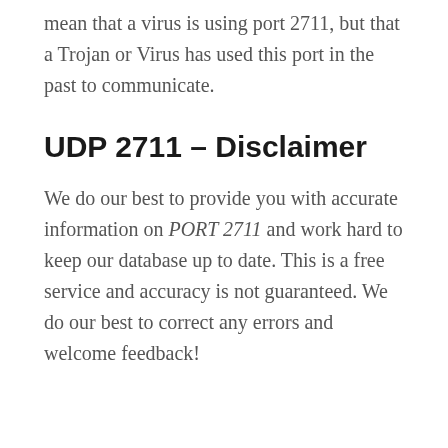mean that a virus is using port 2711, but that a Trojan or Virus has used this port in the past to communicate.
UDP 2711 – Disclaimer
We do our best to provide you with accurate information on PORT 2711 and work hard to keep our database up to date. This is a free service and accuracy is not guaranteed. We do our best to correct any errors and welcome feedback!